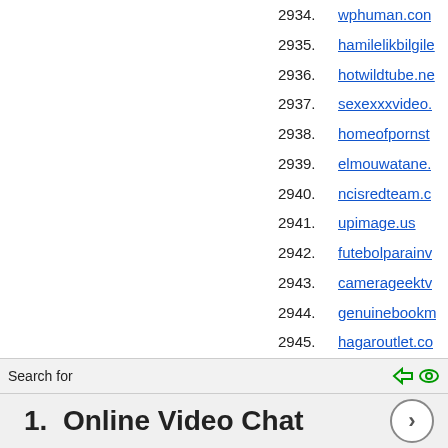2934. wphuman.com
2935. hamilelikbilgile
2936. hotwildtube.ne
2937. sexexxxvideo.
2938. homeofpornst
2939. elmouwatane.
2940. ncisredteam.c
2941. upimage.us
2942. futebolparainv
2943. camerageektv
2944. genuinebookm
2945. hagaroutlet.co
Search for
1.  Online Video Chat